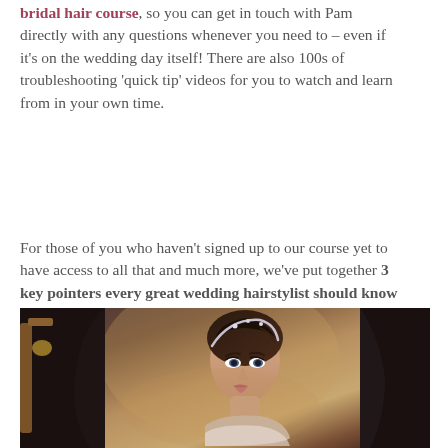bridal hair course, so you can get in touch with Pam directly with any questions whenever you need to – even if it's on the wedding day itself! There are also 100s of troubleshooting 'quick tip' videos for you to watch and learn from in your own time.
For those of you who haven't signed up to our course yet to have access to all that and much more, we've put together 3 key pointers every great wedding hairstylist should know to really shine on the big day, whether it's your first time or you're a seasoned pro!
[Figure (photo): A bride with dark hair up in an elegant updo with a decorative headband, looking slightly upward, with another person partially visible on the right side of the frame. The background shows warm interior lighting with furniture.]